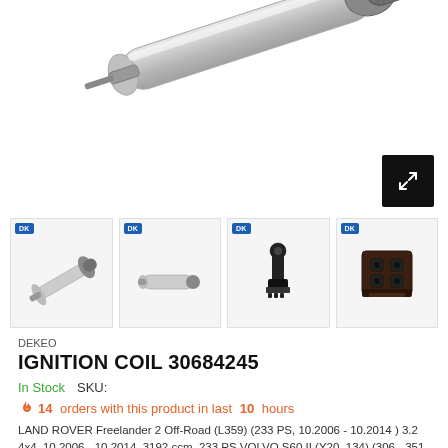[Figure (photo): Close-up of an ignition coil product, showing a silver metallic cylindrical body with a grey connector cap, on white background]
[Figure (photo): Four thumbnail images of ignition coil from different angles, each with a DK badge overlay]
DEKEO
IGNITION COIL 30684245
In Stock   SKU:
🔥 14 orders with this product in last 10 hours
LAND ROVER Freelander 2 Off-Road (L359) (233 PS, 10.2006 - 10.2014 ) 3.2 4x4, 10.2006 - 10.2014, 3192 ccm, 233 PS VOLVO S60 II (Y20, 134) (306 - 351 PS, 06.2010 - ...) 3.0 T AWD, 06.2014 -